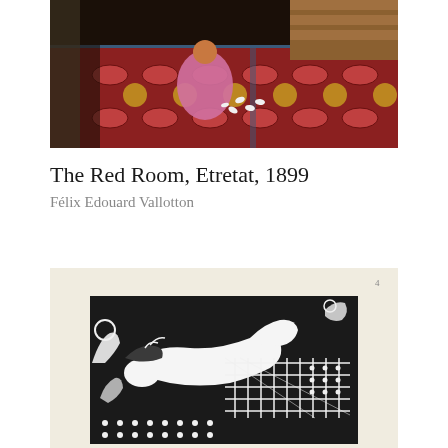[Figure (photo): A painting showing a child in a pink dress sitting on a richly patterned red carpet/rug, viewed from behind, in an interior room setting. The carpet has intricate colorful geometric and floral patterns.]
The Red Room, Etretat, 1899
Félix Edouard Vallotton
[Figure (photo): A black and white woodcut print showing a reclining nude figure surrounded by decorative patterned fabrics and botanical elements, with intricate dot and grid patterns throughout. The print is mounted on cream/off-white paper.]